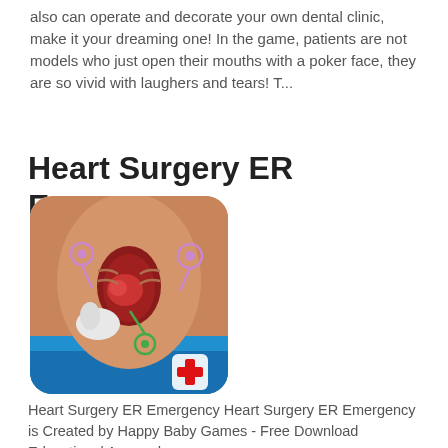also can operate and decorate your own dental clinic, make it your dreaming one! In the game, patients are not models who just open their mouths with a poker face, they are so vivid with laughers and tears! T...
Heart Surgery ER Emergency
[Figure (illustration): App icon for Heart Surgery ER Emergency game showing an open chest surgery scene with medical instruments and a red cross badge]
Heart Surgery ER Emergency Heart Surgery ER Emergency is Created by Happy Baby Games - Free Download Educational App and ...